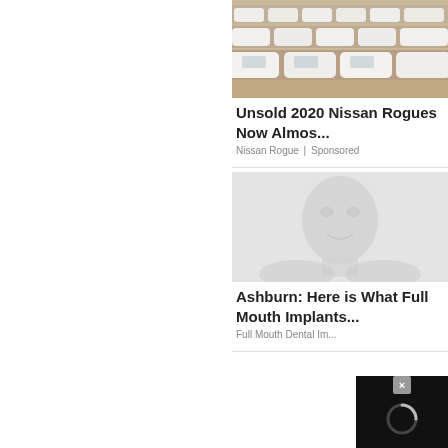[Figure (photo): Row of white Nissan Rogue SUVs parked in a lot, viewed from rear, sandy/dusty setting]
Unsold 2020 Nissan Rogues Now Almos...
Nissan Rogue | Sponsored
[Figure (photo): Blurred/ghosted image, appears to be a dental or medical related photo, mostly light gray]
Ashburn: Here is What Full Mouth Implants...
Full Mouth Dental Im...
[Figure (screenshot): Black popup overlay with a loading spinner circle and an X close button]